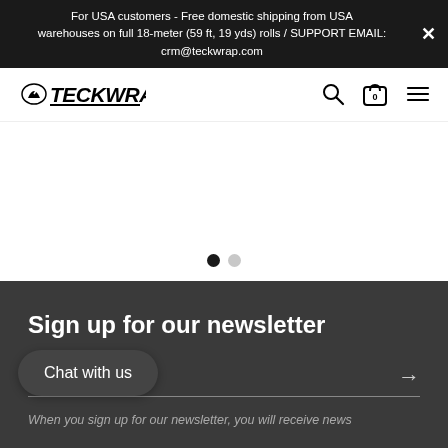For USA customers - Free domestic shipping from USA warehouses on full 18-meter (59 ft, 19 yds) rolls / SUPPORT EMAIL: crm@teckwrap.com
[Figure (logo): TeckWrap logo with stylized helmet/speedometer icon and bold italic text]
[Figure (screenshot): Navigation bar with search icon, cart icon (0 items), and hamburger menu icon]
[Figure (other): Hero/slider area with two pagination dots: one filled black (active) and one gray (inactive)]
Sign up for our newsletter
Enter your email
Chat with us
When you sign up for our newsletter, you will receive news